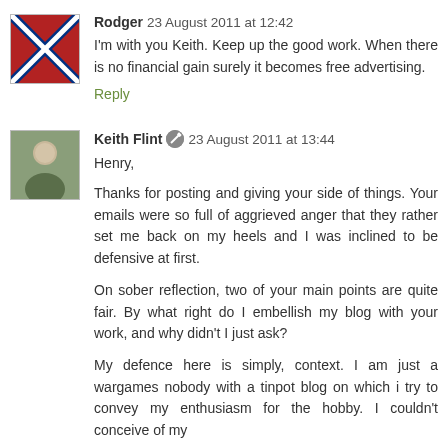Rodger  23 August 2011 at 12:42
I'm with you Keith. Keep up the good work. When there is no financial gain surely it becomes free advertising.
Reply
Keith Flint  23 August 2011 at 13:44
Henry,
Thanks for posting and giving your side of things. Your emails were so full of aggrieved anger that they rather set me back on my heels and I was inclined to be defensive at first.
On sober reflection, two of your main points are quite fair. By what right do I embellish my blog with your work, and why didn't I just ask?
My defence here is simply, context. I am just a wargames nobody with a tinpot blog on which i try to convey my enthusiasm for the hobby. I couldn't conceive of my